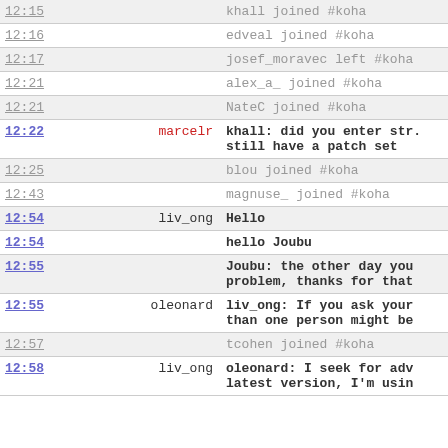| time | nick | message |
| --- | --- | --- |
| 12:15 |  | khall joined #koha |
| 12:16 |  | edveal joined #koha |
| 12:17 |  | josef_moravec left #koha |
| 12:21 |  | alex_a_ joined #koha |
| 12:21 |  | NateC joined #koha |
| 12:22 | marcelr | khall: did you enter str... still have a patch set |
| 12:25 |  | blou joined #koha |
| 12:43 |  | magnuse_ joined #koha |
| 12:54 | liv_ong | Hello |
| 12:54 |  | hello Joubu |
| 12:55 |  | Joubu: the other day you... problem, thanks for that |
| 12:55 | oleonard | liv_ong: If you ask your... than one person might be |
| 12:57 |  | tcohen joined #koha |
| 12:58 | liv_ong | oleonard: I seek for adv... latest version, I'm usin... |